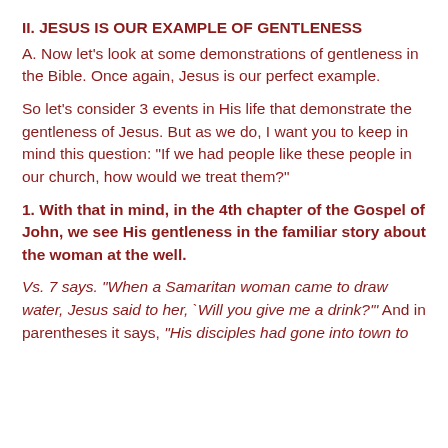II. JESUS IS OUR EXAMPLE OF GENTLENESS
A. Now let’s look at some demonstrations of gentleness in the Bible. Once again, Jesus is our perfect example.
So let’s consider 3 events in His life that demonstrate the gentleness of Jesus. But as we do, I want you to keep in mind this question: “If we had people like these people in our church, how would we treat them?”
1. With that in mind, in the 4th chapter of the Gospel of John, we see His gentleness in the familiar story about the woman at the well.
Vs. 7 says. “When a Samaritan woman came to draw water, Jesus said to her, `Will you give me a drink?’” And in parentheses it says, “His disciples had gone into town to